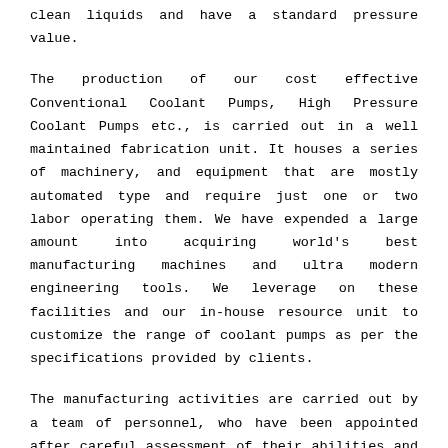clean liquids and have a standard pressure value.
The production of our cost effective Conventional Coolant Pumps, High Pressure Coolant Pumps etc., is carried out in a well maintained fabrication unit. It houses a series of machinery, and equipment that are mostly automated type and require just one or two labor operating them. We have expended a large amount into acquiring world's best manufacturing machines and ultra modern engineering tools. We leverage on these facilities and our in-house resource unit to customize the range of coolant pumps as per the specifications provided by clients.
The manufacturing activities are carried out by a team of personnel, who have been appointed after careful assessment of their abilities and qualifications. They ensure that Powered Coolant Pumps, Vertical Coolant Pumps and others are precision developed and meet the standards as well as specifications of the industry. It is their responsibility to make sure that all the coolant pumps have an anti-corrosive coating and are ideal for CNC